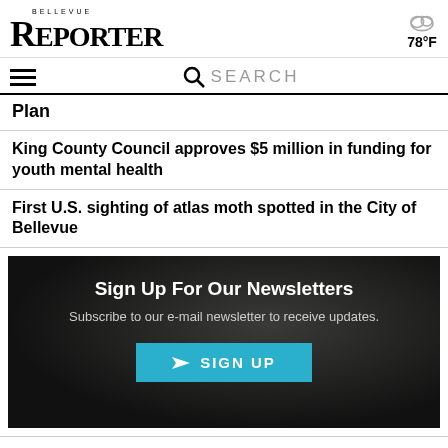BELLEVUE REPORTER
78°F
SEARCH
Plan
King County Council approves $5 million in funding for youth mental health
First U.S. sighting of atlas moth spotted in the City of Bellevue
[Figure (infographic): Newsletter sign-up banner with dark background. Text: Sign Up For Our Newsletters. Subscribe to our e-mail newsletter to receive updates. Button: SIGN UP]
MORE STORIES FROM THIS